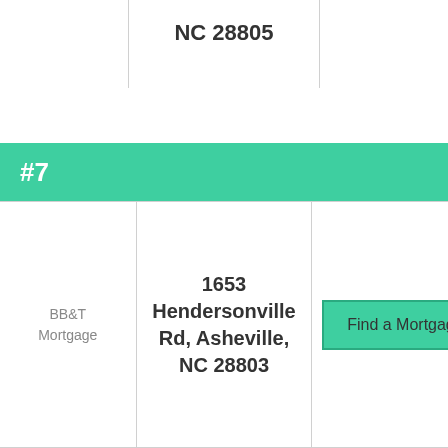|  | NC 28805 |  |
#7
| BB&T Mortgage | 1653 Hendersonville Rd, Asheville, NC 28803 | Find a Mortgage |